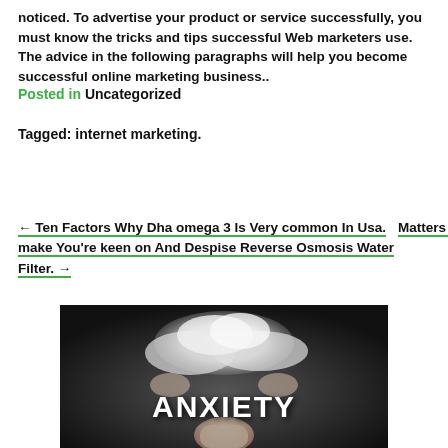noticed. To advertise your product or service successfully, you must know the tricks and tips successful Web marketers use. The advice in the following paragraphs will help you become successful online marketing business..
Posted in Uncategorized
Tagged: internet marketing.
← Ten Factors Why Dha omega 3 Is Very common In Usa.   Matters Which make You're keen on And Despise Reverse Osmosis Water Filter. →
[Figure (photo): Black and white photo showing a person with a cloud of smoke above their head and the word ANXIETY in large bold white letters]